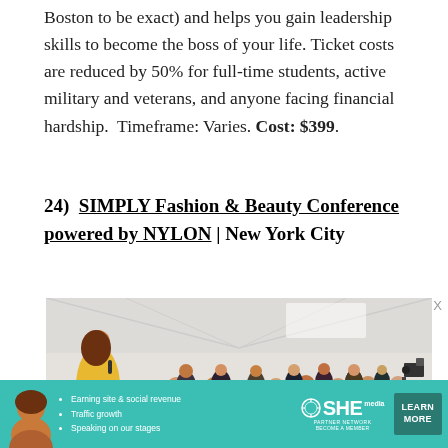Boston to be exact) and helps you gain leadership skills to become the boss of your life. Ticket costs are reduced by 50% for full-time students, active military and veterans, and anyone facing financial hardship. Timeframe: Varies. Cost: $399.
24)  SIMPLY Fashion & Beauty Conference powered by NYLON | New York City
[Figure (photo): A woman in a yellow dress speaking on stage at an outdoor conference event under a white tent, with an audience of attendees seated and watching. Camera equipment visible on the right.]
[Figure (infographic): SHE Partner Network advertisement banner with teal background. Bullet points: Earning site & social revenue, Traffic growth, Speaking on our stages. SHE logo and LEARN MORE button.]